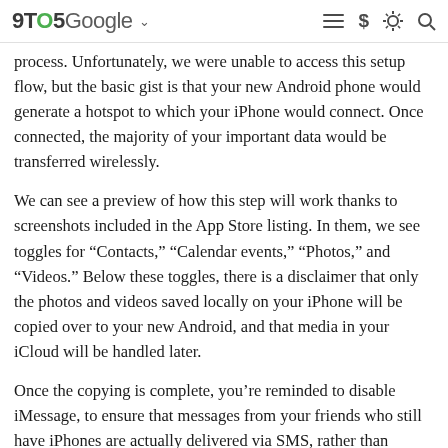9TO5Google ∨  ≡  $  ☀  🔍
process. Unfortunately, we were unable to access this setup flow, but the basic gist is that your new Android phone would generate a hotspot to which your iPhone would connect. Once connected, the majority of your important data would be transferred wirelessly.
We can see a preview of how this step will work thanks to screenshots included in the App Store listing. In them, we see toggles for "Contacts," "Calendar events," "Photos," and "Videos." Below these toggles, there is a disclaimer that only the photos and videos saved locally on your iPhone will be copied over to your new Android, and that media in your iCloud will be handled later.
Once the copying is complete, you're reminded to disable iMessage, to ensure that messages from your friends who still have iPhones are actually delivered via SMS, rather than disappearing into the iMessage void. The final step of the